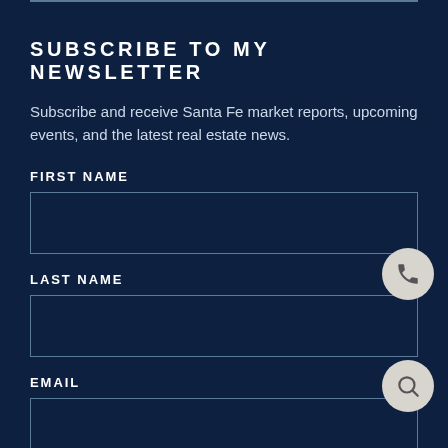SUBSCRIBE TO MY NEWSLETTER
Subscribe and receive Santa Fe market reports, upcoming events, and the latest real estate news.
FIRST NAME
LAST NAME
EMAIL